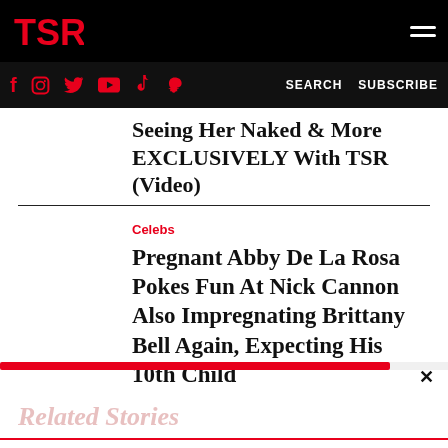[Figure (logo): TSR logo in red on black background with hamburger menu icon]
f  Instagram  Twitter  YouTube  TikTok  Snapchat  SEARCH  SUBSCRIBE
Seeing Her Naked & More EXCLUSIVELY With TSR (Video)
Celebs
Pregnant Abby De La Rosa Pokes Fun At Nick Cannon Also Impregnating Brittany Bell Again, Expecting His 10th Child
Related Stories